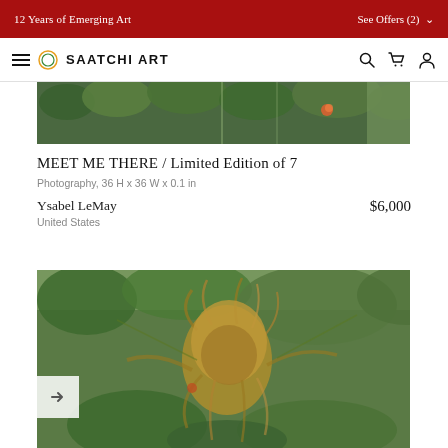12 Years of Emerging Art
See Offers (2)
SAATCHI ART
[Figure (photo): Top portion of a photography artwork showing plants, flowers, and foliage through a window or greenhouse]
MEET ME THERE / Limited Edition of 7
Photography, 36 H x 36 W x 0.1 in
Ysabel LeMay
United States
$6,000
[Figure (photo): Second artwork photo showing a figure with wild hair surrounded by branches and green foliage outdoors]